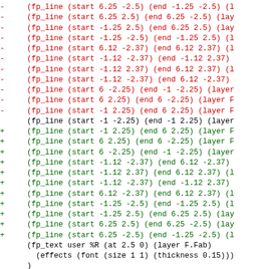Diff output showing removed (red) and added (green) fp_line entries in a KiCad footprint file, with a hunk header (blue) and context lines (black).